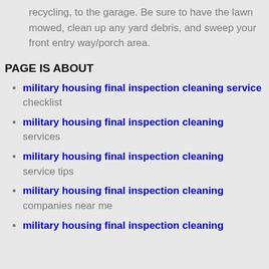recycling, to the garage. Be sure to have the lawn mowed, clean up any yard debris, and sweep your front entry way/porch area.
PAGE IS ABOUT
military housing final inspection cleaning service checklist
military housing final inspection cleaning services
military housing final inspection cleaning service tips
military housing final inspection cleaning companies near me
military housing final inspection cleaning